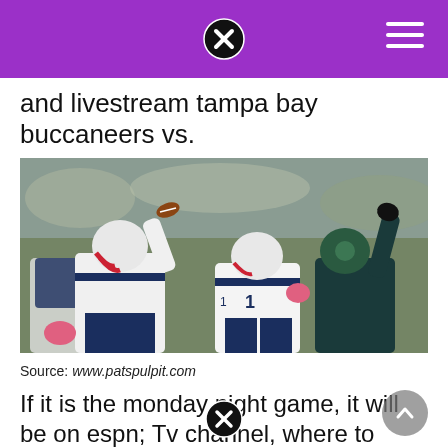and livestream tampa bay buccaneers vs.
[Figure (photo): NFL football players in action; New England Patriots quarterback throwing a pass while teammates and opposing Seattle Seahawks players block; players wearing red and white Patriots helmets and white jerseys]
Source: www.patspulpit.com
If it is the monday night game, it will be on espn; Tv channel, where to stream overtime online, kickoff time for today's nfl divisional round playoff game by gabrielle guerard jan